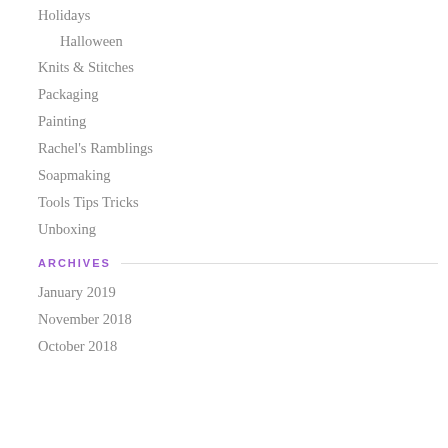Holidays
Halloween
Knits & Stitches
Packaging
Painting
Rachel's Ramblings
Soapmaking
Tools Tips Tricks
Unboxing
ARCHIVES
January 2019
November 2018
October 2018